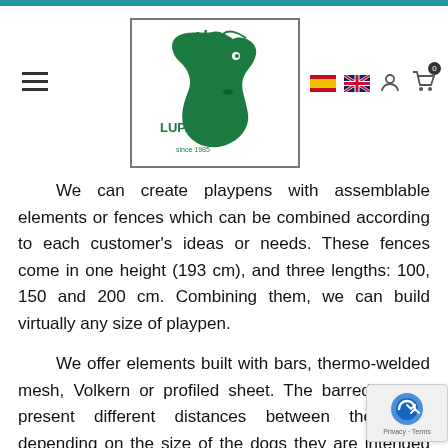LUPA logo with horse illustration, navigation hamburger menu, Spanish flag, UK flag, user icon, cart icon with 0 badge
We can create playpens with assemblable elements or fences which can be combined according to each customer's ideas or needs. These fences come in one height (193 cm), and three lengths: 100, 150 and 200 cm. Combining them, we can build virtually any size of playpen.
We offer elements built with bars, thermo-welded mesh, Volkern or profiled sheet. The barred panels present different distances between the bars, depending on the size of the dogs they are intended for. There are also other types of panels: with doors, with an opening to enter the kennel, with revolving bowls... In addition, we have different roofing s and all the necessary elements to assemble and fix the